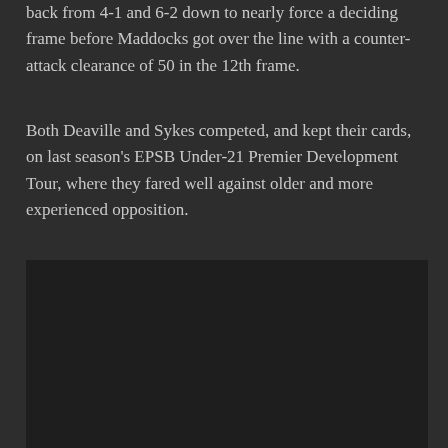back from 4-1 and 6-2 down to nearly force a deciding frame before Maddocks got over the line with a counter-attack clearance of 50 in the 12th frame.
Both Deaville and Sykes competed, and kept their cards, on last season's EPSB Under-21 Premier Development Tour, where they fared well against older and more experienced opposition.
[Figure (photo): Dark rectangular image placeholder area]